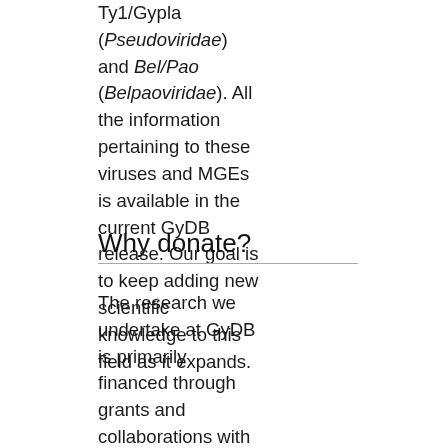Ty1/Gypla (Pseudoviridae) and Bel/Pao (Belpaoviridae). All the information pertaining to these viruses and MGEs is available in the current GyDB release. Our goal is to keep adding new scientific knowledge to this field as it expands.
Why donate?
The research we undertake at GyDB is primarily financed through grants and collaborations with research centres. However, as an